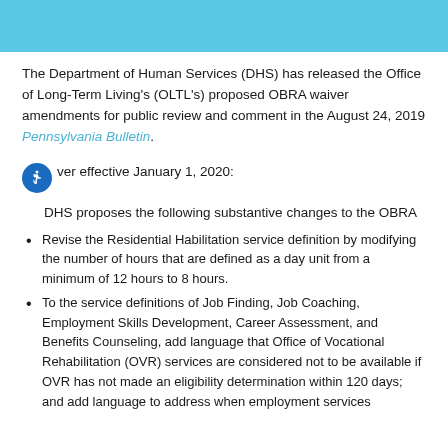[Figure (other): Light blue header banner bar at top of page]
The Department of Human Services (DHS) has released the Office of Long-Term Living's (OLTL's) proposed OBRA waiver amendments for public review and comment in the August 24, 2019 Pennsylvania Bulletin.
DHS proposes the following substantive changes to the OBRA waiver effective January 1, 2020:
Revise the Residential Habilitation service definition by modifying the number of hours that are defined as a day unit from a minimum of 12 hours to 8 hours.
To the service definitions of Job Finding, Job Coaching, Employment Skills Development, Career Assessment, and Benefits Counseling, add language that Office of Vocational Rehabilitation (OVR) services are considered not to be available if OVR has not made an eligibility determination within 120 days; and add language to address when employment services